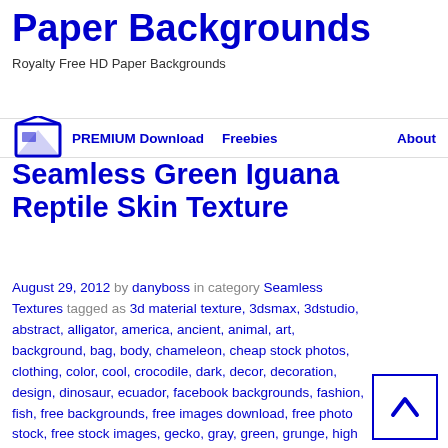Paper Backgrounds
Royalty Free HD Paper Backgrounds
PREMIUM Download   Freebies   About
Seamless Green Iguana Reptile Skin Texture
August 29, 2012 by danyboss in category Seamless Textures tagged as 3d material texture, 3dsmax, 3dstudio, abstract, alligator, america, ancient, animal, art, background, bag, body, chameleon, cheap stock photos, clothing, color, cool, crocodile, dark, decor, decoration, design, dinosaur, ecuador, facebook backgrounds, fashion, fish, free backgrounds, free images download, free photo stock, free stock images, gecko, gray, green, grunge, high resolution, iguana,